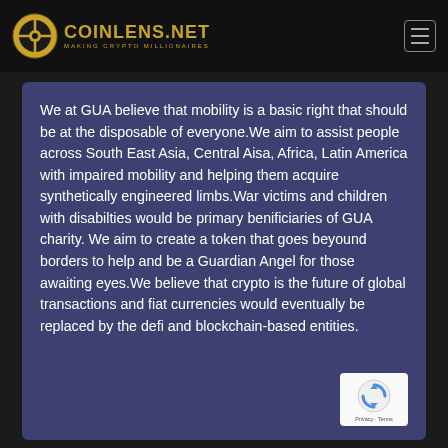COINLENS.NET — MAKING CRYPTO MILLIONAIRES
We at GUA believe that mobility is a basic right that should be at the disposable of everyone.We aim to assist people across South East Asia, Central Aisa, Africa, Latin America with impaired mobility and helping them acquire synthetically engineered limbs.War victims and children with disabilties would be primary benificiaries of GUA charity. We aim to create a token that goes beyound borders to help and be a Guardian Angel for those awaiting eyes.We believe that crypto is the future of global transactions and fiat currencies would eventually be replaced by the defi and blockchain-based entities.